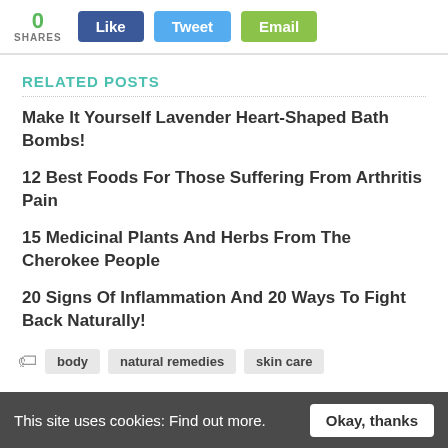0 SHARES  Like  Tweet  Email
RELATED POSTS
Make It Yourself Lavender Heart-Shaped Bath Bombs!
12 Best Foods For Those Suffering From Arthritis Pain
15 Medicinal Plants And Herbs From The Cherokee People
20 Signs Of Inflammation And 20 Ways To Fight Back Naturally!
body  natural remedies  skin care
This site uses cookies: Find out more.  Okay, thanks